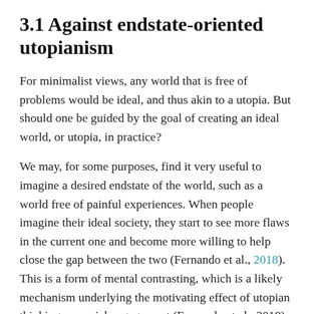3.1 Against endstate-oriented utopianism
For minimalist views, any world that is free of problems would be ideal, and thus akin to a utopia. But should one be guided by the goal of creating an ideal world, or utopia, in practice?
We may, for some purposes, find it very useful to imagine a desired endstate of the world, such as a world free of painful experiences. When people imagine their ideal society, they start to see more flaws in the current one and become more willing to help close the gap between the two (Fernando et al., 2018). This is a form of mental contrasting, which is a likely mechanism underlying the motivating effect of utopian thinking on social engagement (Fernando et al., 2018). Additional